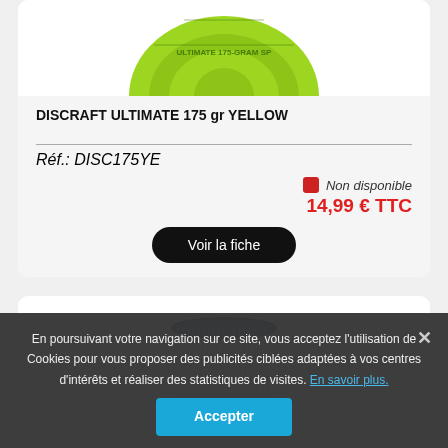[Figure (photo): Yellow-green Discraft Ultimate 175g frisbee disc, top view, cropped at top]
DISCRAFT ULTIMATE 175 gr YELLOW
Réf.: DISC175YE
Non disponible
14,99 € TTC
Voir la fiche
[Figure (photo): Disc golf basket/target with chains and blue rim, partial view]
En poursuivant votre navigation sur ce site, vous acceptez l'utilisation de Cookies pour vous proposer des publicités ciblées adaptées à vos centres d'intérêts et réaliser des statistiques de visites. En savoir plus.
Accepter